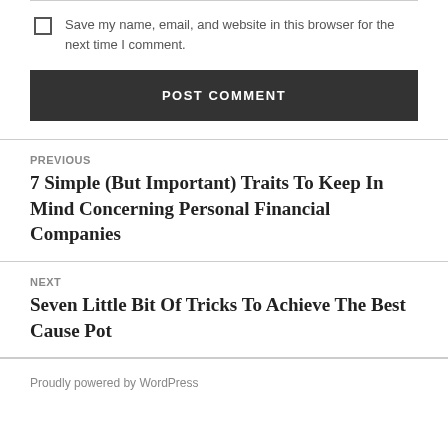Save my name, email, and website in this browser for the next time I comment.
POST COMMENT
PREVIOUS
7 Simple (But Important) Traits To Keep In Mind Concerning Personal Financial Companies
NEXT
Seven Little Bit Of Tricks To Achieve The Best Cause Pot
Proudly powered by WordPress